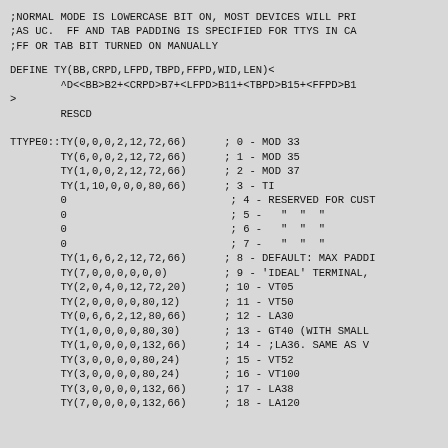;NORMAL MODE IS LOWERCASE BIT ON, MOST DEVICES WILL PRI
;AS UC.  FF AND TAB PADDING IS SPECIFIED FOR TTYS IN CA
;FF OR TAB BIT TURNED ON MANUALLY
DEFINE TY(BB,CRPD,LFPD,TBPD,FFPD,WID,LEN)<
        ^D<<BB>B2+<CRPD>B7+<LFPD>B11+<TBPD>B15+<FFPD>B1
>
        RESCD
TTYPE0::TY(0,0,0,2,12,72,66)      ; 0 - MOD 33
        TY(6,0,0,2,12,72,66)      ; 1 - MOD 35
        TY(1,0,0,2,12,72,66)      ; 2 - MOD 37
        TY(1,10,0,0,0,80,66)      ; 3 - TI
        0                          ; 4 - RESERVED FOR CUST
        0                          ; 5 -   "  "  "
        0                          ; 6 -   "  "  "
        0                          ; 7 -   "  "  "
        TY(1,6,6,2,12,72,66)      ; 8 - DEFAULT: MAX PADDI
        TY(7,0,0,0,0,0,0)         ; 9 - 'IDEAL' TERMINAL,
        TY(2,0,4,0,12,72,20)      ; 10 - VT05
        TY(2,0,0,0,0,80,12)       ; 11 - VT50
        TY(0,6,6,2,12,80,66)      ; 12 - LA30
        TY(1,0,0,0,0,80,30)       ; 13 - GT40 (WITH SMALL
        TY(1,0,0,0,0,132,66)      ; 14 - ;LA36. SAME AS V
        TY(3,0,0,0,0,80,24)       ; 15 - VT52
        TY(3,0,0,0,0,80,24)       ; 16 - VT100
        TY(3,0,0,0,0,132,66)      ; 17 - LA38
        TY(7,0,0,0,0,132,66)      ; 18 - LA120